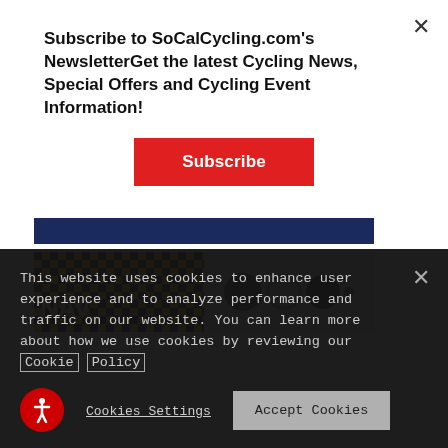Subscribe to SoCalCycling.com's NewsletterGet the latest Cycling News, Special Offers and Cycling Event Information!
[Figure (screenshot): Red Subscribe button]
[Figure (photo): Dark blue bar and product image showing a yellow checkered hat with NAV text and cycling hardware/components on grey background]
This website uses cookies to enhance user experience and to analyze performance and traffic on our website. You can learn more about how we use cookies by reviewing our Cookie Policy
[Figure (other): Accessibility icon - red circle with white person figure]
Cookies Settings
Accept Cookies